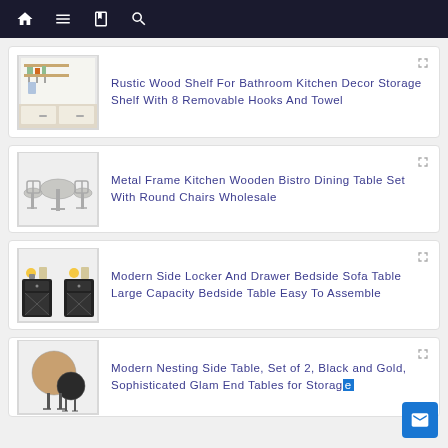Navigation bar with home, menu, book, and search icons
Rustic Wood Shelf For Bathroom Kitchen Decor Storage Shelf With 8 Removable Hooks And Towel
Metal Frame Kitchen Wooden Bistro Dining Table Set With Round Chairs Wholesale
Modern Side Locker And Drawer Bedside Sofa Table Large Capacity Bedside Table Easy To Assemble
Modern Nesting Side Table, Set of 2, Black and Gold, Sophisticated Glam End Tables for Storage